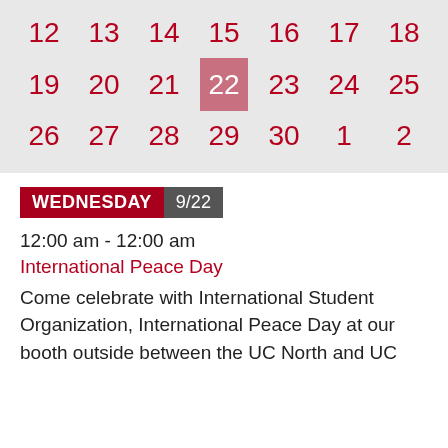[Figure (other): Calendar grid showing dates 12-18, 19-25 (with 22 highlighted), and 26-2]
WEDNESDAY 9/22
12:00 am - 12:00 am
International Peace Day
Come celebrate with International Student Organization, International Peace Day at our booth outside between the UC North and UC